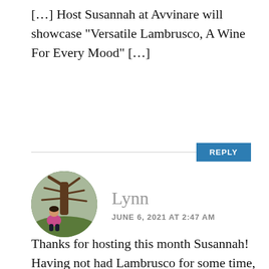[…] Host Susannah at Avvinare will showcase “Versatile Lambrusco, A Wine For Every Mood” […]
REPLY
[Figure (photo): Circular avatar photo of Lynn, a woman in a pink jacket crouching near a bare grapevine tree outdoors]
Lynn
JUNE 6, 2021 AT 2:47 AM
Thanks for hosting this month Susannah! Having not had Lambrusco for some time, great to review it and pop one. Talking about sweet versions, Ian D’Agata in his Grapes book shares they are the least common yet I hear about them often